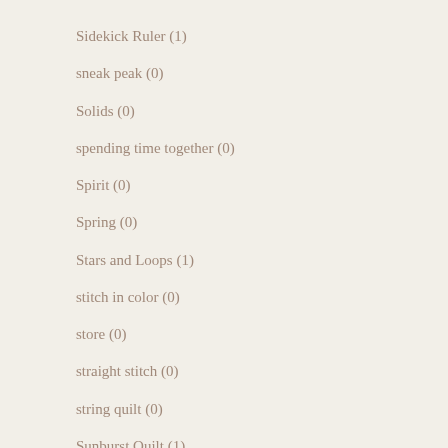Sidekick Ruler (1)
sneak peak (0)
Solids (0)
spending time together (0)
Spirit (0)
Spring (0)
Stars and Loops (1)
stitch in color (0)
store (0)
straight stitch (0)
string quilt (0)
Sunburst Quilt (1)
Super Sidekick Ruler (0)